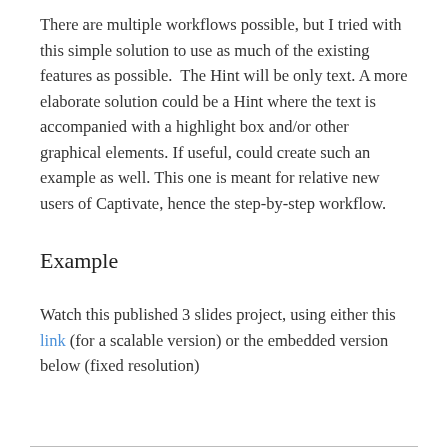There are multiple workflows possible, but I tried with this simple solution to use as much of the existing features as possible.  The Hint will be only text. A more elaborate solution could be a Hint where the text is accompanied with a highlight box and/or other graphical elements. If useful, could create such an example as well. This one is meant for relative new users of Captivate, hence the step-by-step workflow.
Example
Watch this published 3 slides project, using either this link (for a scalable version) or the embedded version below (fixed resolution)